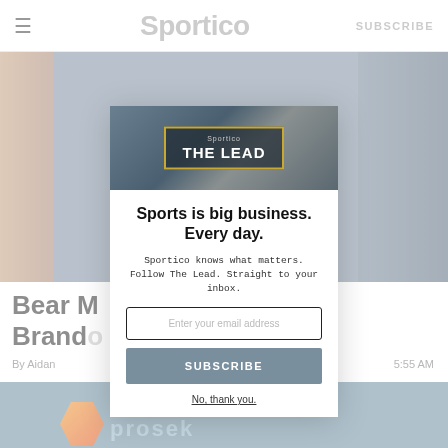≡   Sportico   SUBSCRIBE
[Figure (screenshot): Background article page of Sportico website showing a partial article headline 'Bear M... ok for Brand...' with byline 'By Aidan' and time '5:55 AM', partially obscured by a modal overlay. Lower portion shows a blue/teal image with Prosek logo and orange hexagon graphic.]
[Figure (screenshot): Modal popup overlay on Sportico website. Contains 'THE LEAD' newsletter signup with headline 'Sports is big business. Every day.', subtext 'Sportico knows what matters. Follow The Lead. Straight to your inbox.', an email input field, a SUBSCRIBE button, and a 'No, thank you.' dismiss link.]
Sports is big business. Every day.
Sportico knows what matters. Follow The Lead. Straight to your inbox.
No, thank you.